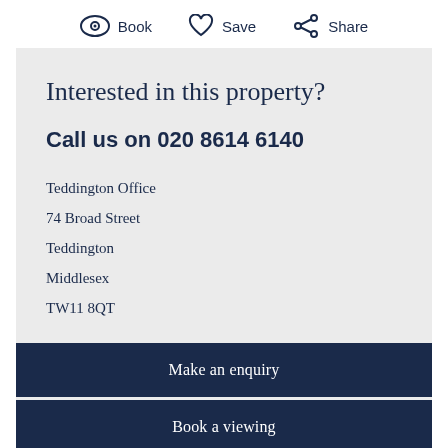[Figure (infographic): Three action icons with labels: an eye icon labeled 'Book', a heart icon labeled 'Save', and a share icon labeled 'Share']
Interested in this property?
Call us on 020 8614 6140
Teddington Office
74 Broad Street
Teddington
Middlesex
TW11 8QT
Make an enquiry
Book a viewing